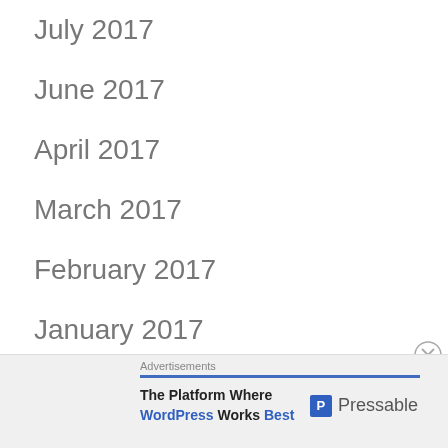July 2017
June 2017
April 2017
March 2017
February 2017
January 2017
December 2016
November 2016
[Figure (other): Close/dismiss button (circled X) in the lower right area]
Advertisements
[Figure (other): Pressable advertisement banner: 'The Platform Where WordPress Works Best' with Pressable logo]